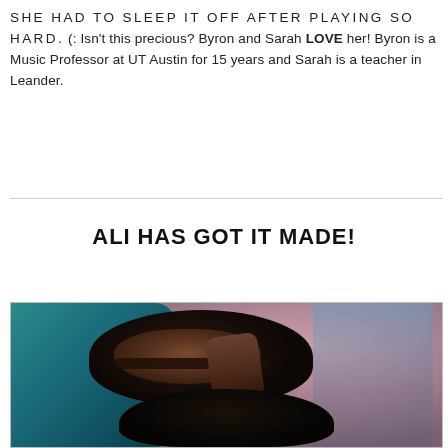SHE HAD TO SLEEP IT OFF AFTER PLAYING SO HARD. (: Isn't this precious? Byron and Sarah LOVE her! Byron is a Music Professor at UT Austin for 15 years and Sarah is a teacher in Leander.
ALI HAS GOT IT MADE!
[Figure (photo): A young woman with long dark hair and glasses, smiling, holding a small black and white dog. She is sitting in a teal/blue chair. There are dream catchers and colorful decorations visible in the background on a pink wall.]